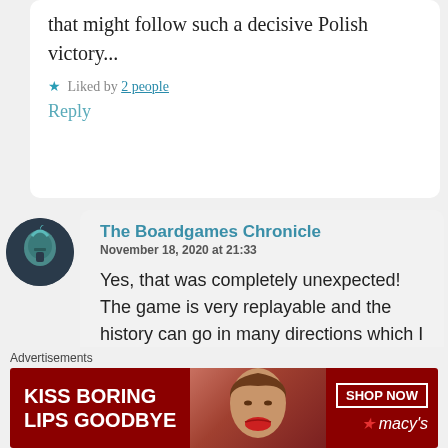that might follow such a decisive Polish victory...
Liked by 2 people
Reply
[Figure (photo): Circular avatar with dark helmet/warrior logo on dark background]
The Boardgames Chronicle
November 18, 2020 at 21:33
Yes, that was completely unexpected! The game is very replayable and the history can go in many directions which I love 🙂
Advertisements
[Figure (photo): Macy's advertisement banner: KISS BORING LIPS GOODBYE with SHOP NOW button and Macy's logo, woman's face with red lips in background]